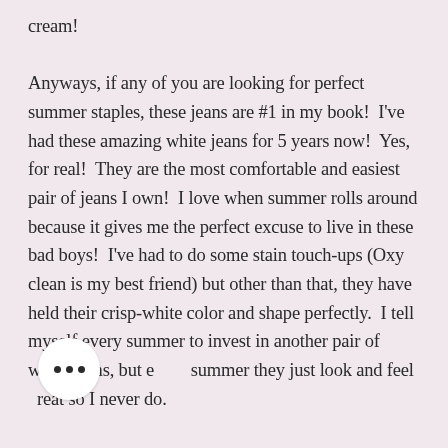cream!

Anyways, if any of you are looking for perfect summer staples, these jeans are #1 in my book!  I've had these amazing white jeans for 5 years now!  Yes, for real!  They are the most comfortable and easiest pair of jeans I own!  I love when summer rolls around because it gives me the perfect excuse to live in these bad boys!  I've had to do some stain touch-ups (Oxy clean is my best friend) but other than that, they have held their crisp-white color and shape perfectly.  I tell myself every summer to invest in another pair of white jeans, but every summer they just look and feel great so I never do.